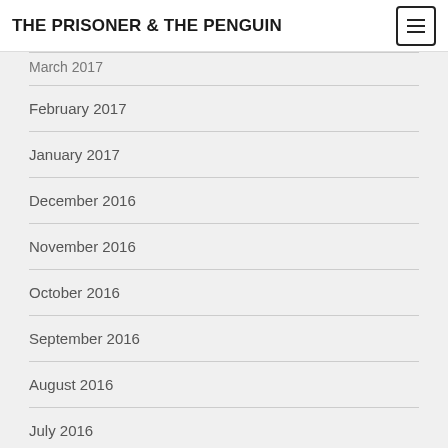THE PRISONER & THE PENGUIN
March 2017
February 2017
January 2017
December 2016
November 2016
October 2016
September 2016
August 2016
July 2016
June 2016
May 2016